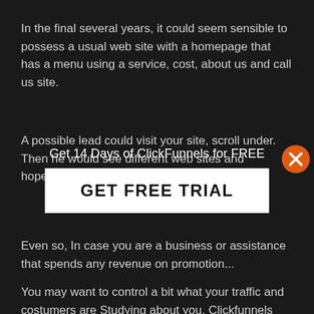In the final several years, it could seem sensible to possess a usual web site with a homepage that has a menu using a service, cost, about us and call us site.
A possible lead could visit your site, scroll under. Then he would see different web sites and hopefully eat any material.
[Figure (infographic): Modal popup overlay with orange X close button, text 'Get 14 Days of ClickFunnels for FREE', and a white 'GET FREE TRIAL' button]
Even so, In case you are a business or assistance that spends any revenue on promotion...
You may want to control a bit what your traffic and costumers are Studying about you, Clickfunnels Lady Boss and your small business in your site.